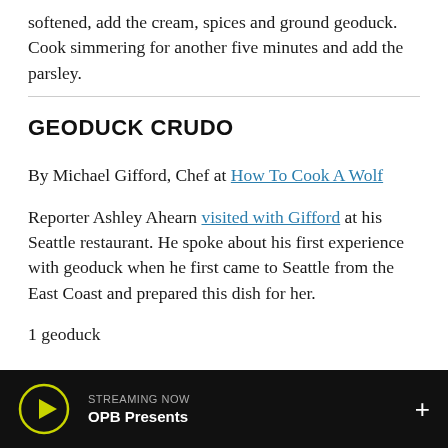softened, add the cream, spices and ground geoduck. Cook simmering for another five minutes and add the parsley.
GEODUCK CRUDO
By Michael Gifford, Chef at How To Cook A Wolf
Reporter Ashley Ahearn visited with Gifford at his Seattle restaurant. He spoke about his first experience with geoduck when he first came to Seattle from the East Coast and prepared this dish for her.
1 geoduck
STREAMING NOW OPB Presents